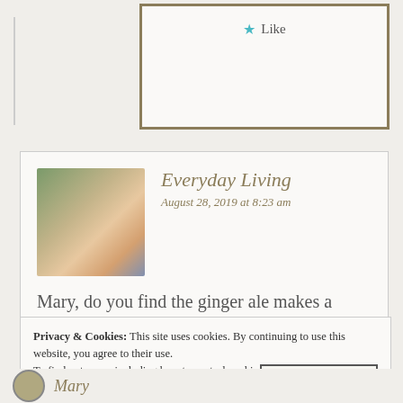Like
Everyday Living
August 28, 2019 at 8:23 am
Mary, do you find the ginger ale makes a difference? I have always used sprite. I love this recipe and so does my family.. Happy Wednesday!
Privacy & Cookies: This site uses cookies. By continuing to use this website, you agree to their use.
To find out more, including how to control cookies, see here:
Cookie Policy
Close and accept
Mary